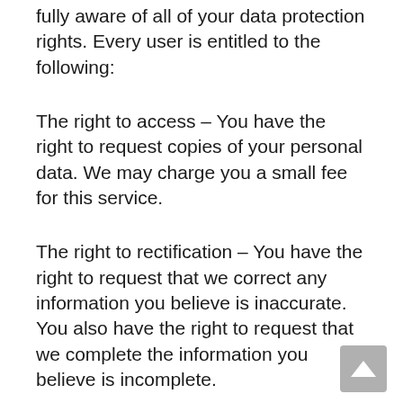fully aware of all of your data protection rights. Every user is entitled to the following:
The right to access – You have the right to request copies of your personal data. We may charge you a small fee for this service.
The right to rectification – You have the right to request that we correct any information you believe is inaccurate. You also have the right to request that we complete the information you believe is incomplete.
The right to erasure – You have the